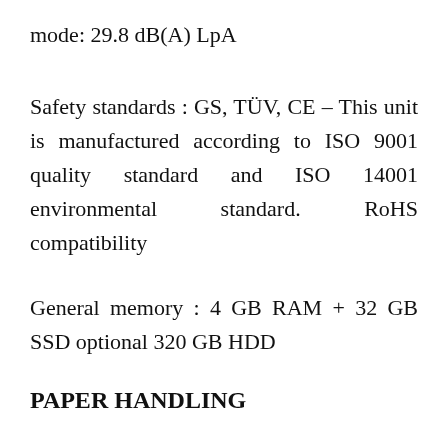mode: 29.8 dB(A) LpA
Safety standards : GS, TÜV, CE – This unit is manufactured according to ISO 9001 quality standard and ISO 14001 environmental standard. RoHS compatibility
General memory : 4 GB RAM + 32 GB SSD optional 320 GB HDD
PAPER HANDLING